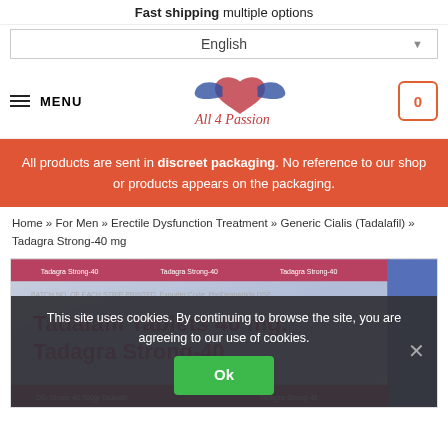Fast shipping multiple options
English
[Figure (logo): All 4 Passion logo with heart and wing graphic in red and blue]
MENU
0 (cart)
All products are sent in discreet packaging. No reference to our shop or products appears on the packaging.
Home » For Men » Erectile Dysfunction Treatment » Generic Cialis (Tadalafil) » Tadagra Strong-40 mg
[Figure (photo): Blister pack of Tadalafil Tablets 40 mg Tadagra Strong-40]
This site uses cookies. By continuing to browse the site, you are agreeing to our use of cookies.
Ok